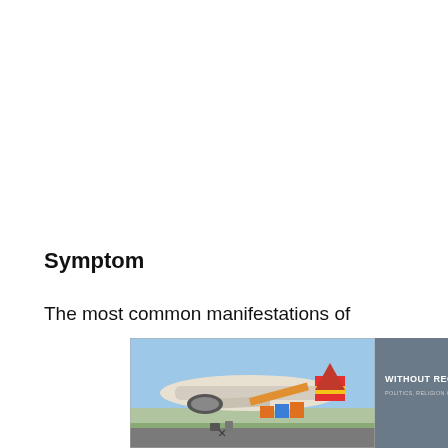Symptom
The most common manifestations of
[Figure (photo): Cargo airplane being loaded on tarmac with banner reading 'WITHOUT REGARD TO POLITICS, RELIGION OR HEALTH THREAT']
×